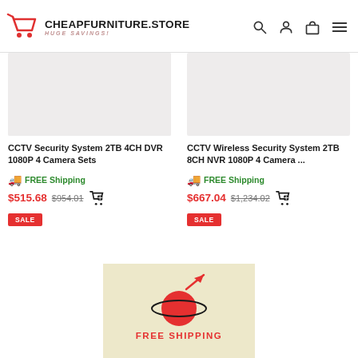CHEAPFURNITURE.STORE — HUGE SAVINGS!
[Figure (screenshot): Product card image placeholder (grey box) for CCTV Security System 2TB 4CH DVR]
CCTV Security System 2TB 4CH DVR 1080P 4 Camera Sets
🚛  FREE Shipping
$515.68  $954.01  SALE
[Figure (screenshot): Product card image placeholder (grey box) for CCTV Wireless Security System 2TB 8CH NVR]
CCTV Wireless Security System 2TB 8CH NVR 1080P 4 Camera ...
🚛  FREE Shipping
$667.04  $1,234.02  SALE
[Figure (illustration): Free Shipping promotional banner with red planet/rocket logo on beige background, text FREE SHIPPING]